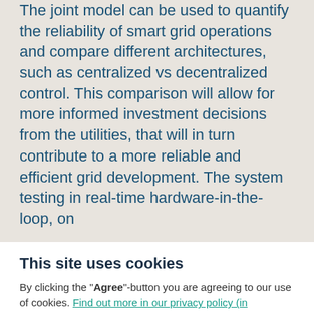The joint model can be used to quantify the reliability of smart grid operations and compare different architectures, such as centralized vs decentralized control. This comparison will allow for more informed investment decisions from the utilities, that will in turn contribute to a more reliable and efficient grid development. The system testing in real-time hardware-in-the-loop, on
This site uses cookies
By clicking the "Agree"-button you are agreeing to our use of cookies. Find out more in our privacy policy (in Norwegian only).
Agree